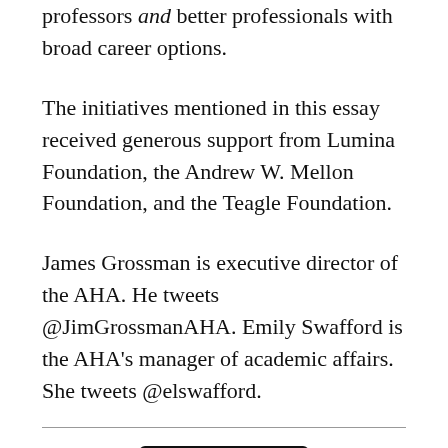professors and better professionals with broad career options.
The initiatives mentioned in this essay received generous support from Lumina Foundation, the Andrew W. Mellon Foundation, and the Teagle Foundation.
James Grossman is executive director of the AHA. He tweets @JimGrossmanAHA. Emily Swafford is the AHA's manager of academic affairs. She tweets @elswafford.
[Figure (logo): Creative Commons BY-NC-ND license icon with CC, person, dollar-sign-circle, and equals-sign-circle symbols]
This work is licensed under a Creative Commons Attribution-NonCommercial-NoDerivatives 4.0 International License. Attribution must provide author name, article title, Perspectives on History,